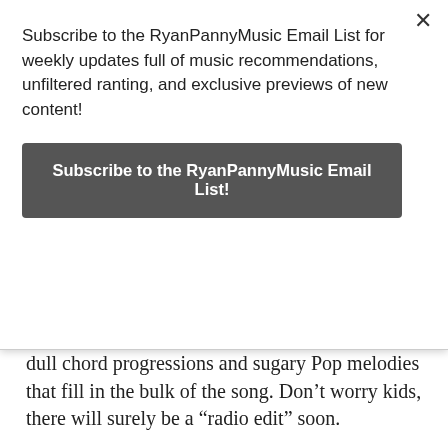Subscribe to the RyanPannyMusic Email List for weekly updates full of music recommendations, unfiltered ranting, and exclusive previews of new content!
Subscribe to the RyanPannyMusic Email List!
dull chord progressions and sugary Pop melodies that fill in the bulk of the song. Don’t worry kids, there will surely be a “radio edit” soon.
I’m still holding out hope, though. Volbeat do have a penchant for diverse track lists that run the gamut from borderline Pop-Rock (like this track) to a vintage Heavy Metal assault. But I’m definitely worried that the band have been lured into the depths of Butt Rock by their radio paychecks. They (and many of their fans) wouldn’t be the first victims. We’ll have to wait a couple more